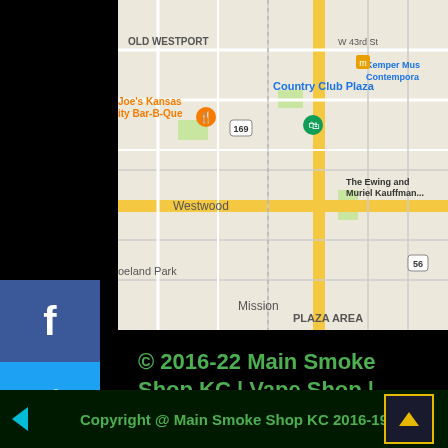[Figure (map): Google Maps screenshot showing Kansas City area including Country Club Plaza, Joe's Kansas City Bar-B-Que, Westwood, Mission, Kemper Museum of Contemporary Art, The Ewing and Muriel Kauffman, Old Westport, W 43rd St, route 169 and 56 markers, Plaza Area]
[Figure (other): Social media sharing sidebar with icons for Facebook, Twitter, LinkedIn, Pinterest, Reddit, StumbleUpon]
© 2016-22 Main Smoke Shop KC | Vape Shop | Kratom & CBD Store
3429 Main Street.
Kansas City, Missouri 64111
816-756-2646
Copyright @ Main Smoke Shop KC 2016-19